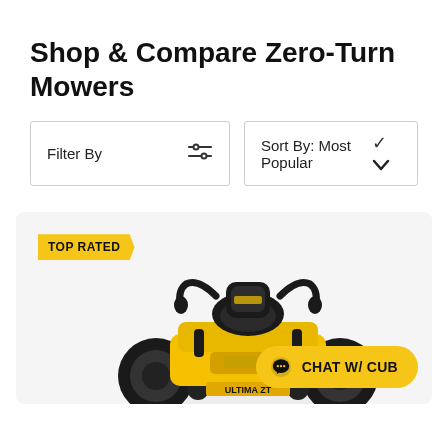Shop & Compare Zero-Turn Mowers
Filter By
Sort By: Most Popular
[Figure (photo): Yellow Cub Cadet zero-turn mower with black seat and handlebars, shown from front-right angle. 'TOP RATED' badge in yellow at top left of card. 'ULTIMA ZT' branding visible on mower body.]
CHAT W/ CUB